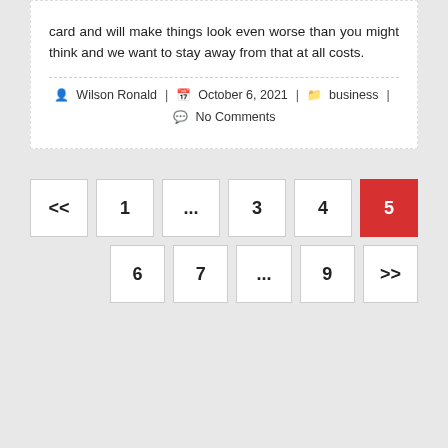card and will make things look even worse than you might think and we want to stay away from that at all costs.
Wilson Ronald | October 6, 2021 | business | No Comments
<< 1 ... 3 4 5 6 7 ... 9 >>